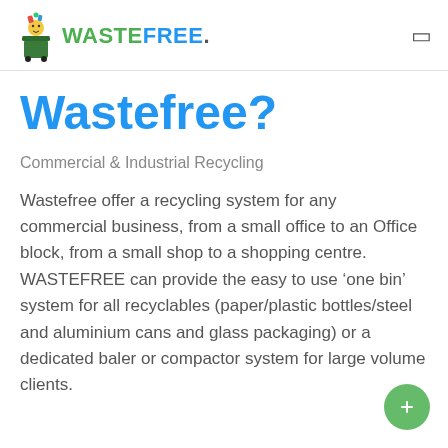[Figure (logo): Wastefree logo with cartoon character mascot holding recyclables in a bin, with green WASTE and blue FREE text]
Wastefree?
Commercial & Industrial Recycling
Wastefree offer a recycling system for any commercial business, from a small office to an Office block, from a small shop to a shopping centre. WASTEFREE can provide the easy to use ‘one bin’ system for all recyclables (paper/plastic bottles/steel and aluminium cans and glass packaging) or a dedicated baler or compactor system for large volume clients.